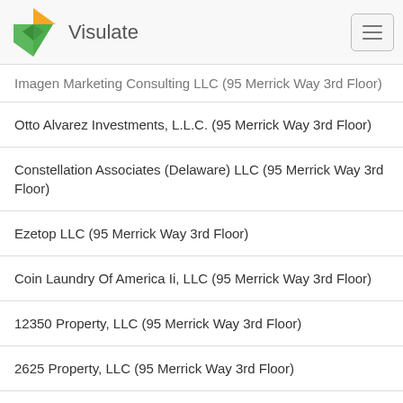Visulate
Imagen Marketing Consulting LLC (95 Merrick Way 3rd Floor)
Otto Alvarez Investments, L.L.C. (95 Merrick Way 3rd Floor)
Constellation Associates (Delaware) LLC (95 Merrick Way 3rd Floor)
Ezetop LLC (95 Merrick Way 3rd Floor)
Coin Laundry Of America Ii, LLC (95 Merrick Way 3rd Floor)
12350 Property, LLC (95 Merrick Way 3rd Floor)
2625 Property, LLC (95 Merrick Way 3rd Floor)
Coin Laundry Of America Iii, LLC (95 Merrick Way 3rd Floor)
Peruvian-American Chamber Of Commerce, Inc. (95 Merrick Way 3rd Floor)